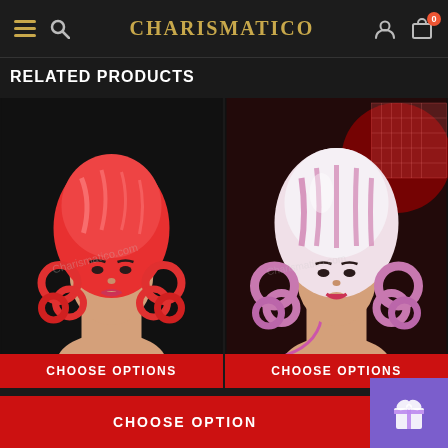CHARISMATICO
RELATED PRODUCTS
[Figure (photo): Mannequin head wearing a large red shiny wig with coiled spiral curls on the sides and a structured helmet-like top]
[Figure (photo): Mannequin head wearing a white and pink striped shiny wig with large coiled curl extensions on the sides, against a red sparkly background]
CHOOSE OPTIONS
CHOOSE OPTIONS
CHOOSE OPTION